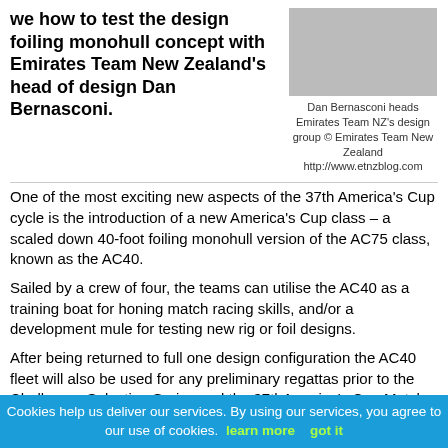we how to test the design foiling monohull concept with Emirates Team New Zealand's head of design Dan Bernasconi.
[Figure (photo): Person working at a computer desk, viewed from above/behind]
Dan Bernasconi heads Emirates Team NZ's design group © Emirates Team New Zealand http://www.etnzblog.com
One of the most exciting new aspects of the 37th America's Cup cycle is the introduction of a new America's Cup class – a scaled down 40-foot foiling monohull version of the AC75 class, known as the AC40.
Sailed by a crew of four, the teams can utilise the AC40 as a training boat for honing match racing skills, and/or a development mule for testing new rig or foil designs.
After being returned to full one design configuration the AC40 fleet will also be used for any preliminary regattas prior to the Challenger Selection Series and the 37thAmerica's Cup Match – such as America's Cup World Series events – as well as for the Youth America's Cup and Women's America's Cup.
Cookies help us deliver our services. By using our services, you agree to our use of cookies.  learn more     got it